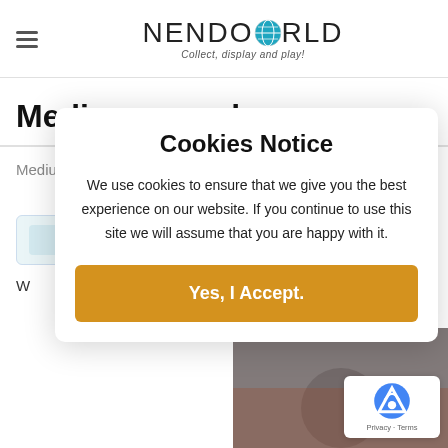NENDOWORLD — Collect, display and play!
Medium parcel
Medium Parcel Charge
Cookies Notice

We use cookies to ensure that we give you the best experience on our website. If you continue to use this site we will assume that you are happy with it.

Yes, I Accept.